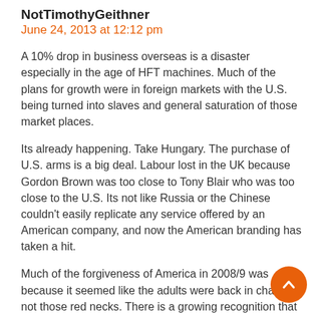NotTimothyGeithner
June 24, 2013 at 12:12 pm
A 10% drop in business overseas is a disaster especially in the age of HFT machines. Much of the plans for growth were in foreign markets with the U.S. being turned into slaves and general saturation of those market places.
Its already happening. Take Hungary. The purchase of U.S. arms is a big deal. Labour lost in the UK because Gordon Brown was too close to Tony Blair who was too close to the U.S. Its not like Russia or the Chinese couldn't easily replicate any service offered by an American company, and now the American branding has taken a hit.
Much of the forgiveness of America in 2008/9 was because it seemed like the adults were back in charge, not those red necks. There is a growing recognition that the difference between the NPR American and the Hannity American is superficial. The same abuses won't be forgiven so readily because there is no promise of adults coming back.